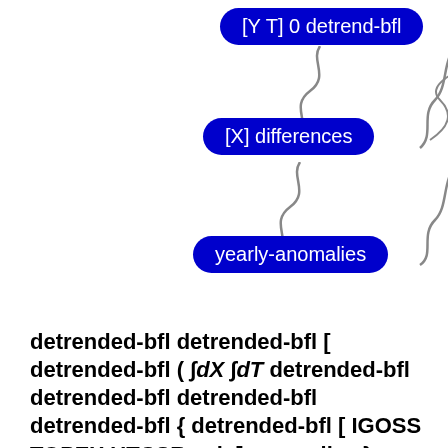[Figure (infographic): Three blue pill-shaped buttons arranged vertically on the right side with squiggly connector lines: '[Y T] 0 detrend-bfl', '[X] differences', 'yearly-anomalies']
detrended-bfl detrended-bfl [ detrended-bfl ( ∫dX ∫dT detrended-bfl detrended-bfl detrended-bfl detrended-bfl { detrended-bfl [ IGOSS TOPEX UTCSR ssh ] anomalies } anomalies ) anomalies ] anomalies: Sea Surface Height data
ssh adif adif adif adif adif adif int_dT int_dX int_dX int_dX adif adif adif adif adif Sea Surface Height from IGOSS TOPEX UTCSR: University of Texas at Austin Center for Space Research TOPEX/POSEIDON Gridded Sea Level Anomalies.
Independent Variables (Grids)